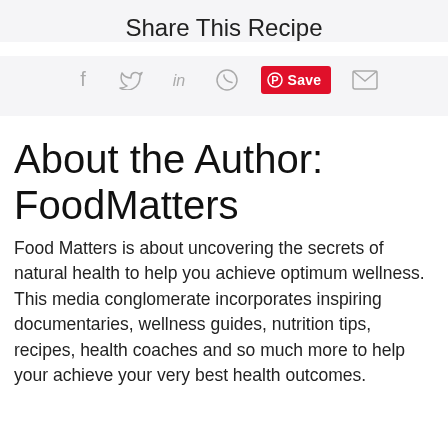Share This Recipe
[Figure (infographic): Social share icons row: Facebook (f), Twitter (bird), LinkedIn (in), WhatsApp (circle phone), Pinterest Save (red button), Email (envelope)]
About the Author: FoodMatters
Food Matters is about uncovering the secrets of natural health to help you achieve optimum wellness. This media conglomerate incorporates inspiring documentaries, wellness guides, nutrition tips, recipes, health coaches and so much more to help your achieve your very best health outcomes.